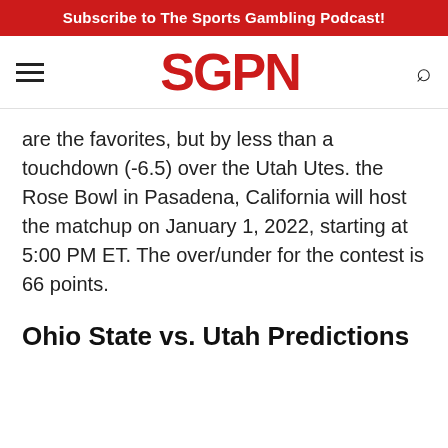Subscribe to The Sports Gambling Podcast!
[Figure (logo): SGPN logo in red bold text with hamburger menu icon on left and search icon on right]
are the favorites, but by less than a touchdown (-6.5) over the Utah Utes. the Rose Bowl in Pasadena, California will host the matchup on January 1, 2022, starting at 5:00 PM ET. The over/under for the contest is 66 points.
Ohio State vs. Utah Predictions